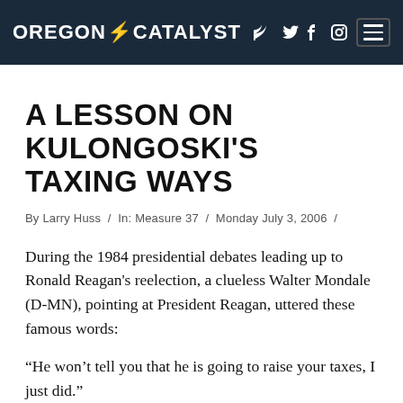OREGON CATALYST
A LESSON ON KULONGOSKI'S TAXING WAYS
By Larry Huss / In: Measure 37 / Monday July 3, 2006 /
During the 1984 presidential debates leading up to Ronald Reagan's reelection, a clueless Walter Mondale (D-MN), pointing at President Reagan, uttered these famous words:
“He won’t tell you that he is going to raise your taxes, I just did.”